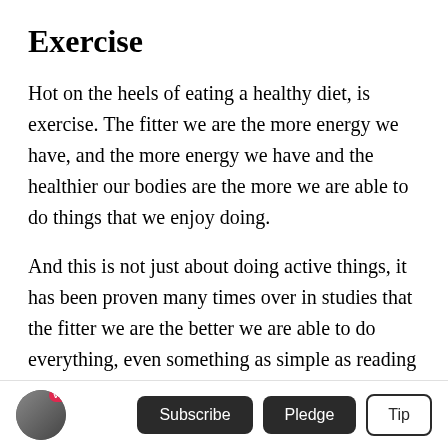Exercise
Hot on the heels of eating a healthy diet, is exercise. The fitter we are the more energy we have, and the more energy we have and the healthier our bodies are the more we are able to do things that we enjoy doing.
And this is not just about doing active things, it has been proven many times over in studies that the fitter we are the better we are able to do everything, even something as simple as reading a book or
V+ Subscribe Pledge Tip